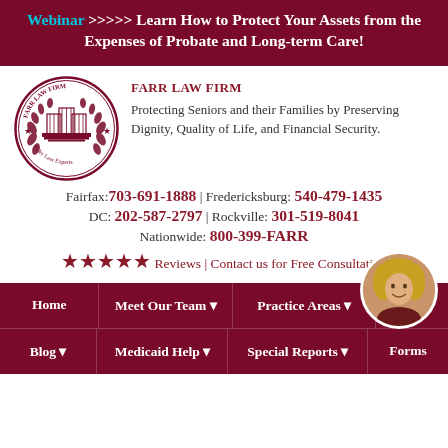Webinar >>>>> Learn How to Protect Your Assets from the Expenses of Probate and Long-term Care!
[Figure (logo): Farr Law Firm circular seal logo with building and laurel wreath, text reading FARR LAW FIRM Elder Law Experts]
FARR LAW FIRM
Protecting Seniors and their Families by Preserving Dignity, Quality of Life, and Financial Security.
Fairfax: 703-691-1888 | Fredericksburg: 540-479-1435
DC: 202-587-2797 | Rockville: 301-519-8041
Nationwide: 800-399-FARR
★★★★★ Reviews | Contact us for Free Consultation
Home | Meet Our Team | Practice Areas
Blog | Medicaid Help | Special Reports | Forms